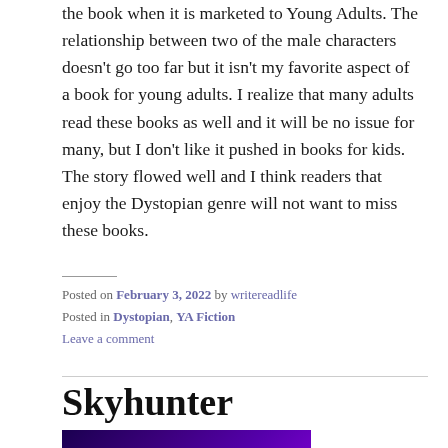the book when it is marketed to Young Adults. The relationship between two of the male characters doesn't go too far but it isn't my favorite aspect of a book for young adults. I realize that many adults read these books as well and it will be no issue for many, but I don't like it pushed in books for kids. The story flowed well and I think readers that enjoy the Dystopian genre will not want to miss these books.
Posted on February 3, 2022 by writereadlife
Posted in Dystopian, YA Fiction
Leave a comment
Skyhunter
[Figure (photo): Book cover for Skyhunter by Marie Lu, showing purple and blue gradient background with gold text 'FROM #1 NEW YORK TIMES–BESTSELLING AUTHOR' and 'MARIE LU' in large gold letters]
Author: Marie Lu